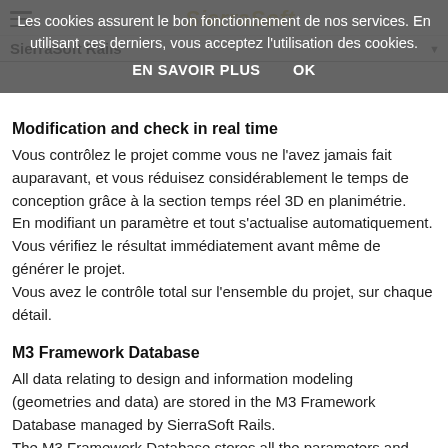SierraSoft Rails
Modification and check in real time
Vous contrôlez le projet comme vous ne l'avez jamais fait auparavant, et vous réduisez considérablement le temps de conception grâce à la section temps réel 3D en planimétrie. En modifiant un paramètre et tout s'actualise automatiquement. Vous vérifiez le résultat immédiatement avant même de générer le projet. Vous avez le contrôle total sur l'ensemble du projet, sur chaque détail.
M3 Framework Database
All data relating to design and information modeling (geometries and data) are stored in the M3 Framework Database managed by SierraSoft Rails. The M3 Framework Database stores all the parameters and data of the project, of the information modeling (geometries and